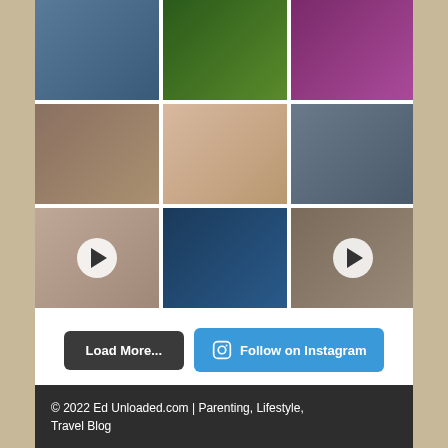[Figure (photo): 3x3 Instagram photo grid. Row 1: person holding bowl/trophy, two people with masks at restaurant, group photo at colorful event. Row 2: person sitting with dog, close-up of open hand/palm, person smiling hugging husky puppy. Row 3: video thumbnail of two people with dog (play button), x-ray of hand/foot bones, video thumbnail of person with Tefal product (play button).]
Load More...
Follow on Instagram
© 2022 Ed Unloaded.com | Parenting, Lifestyle, Travel Blog